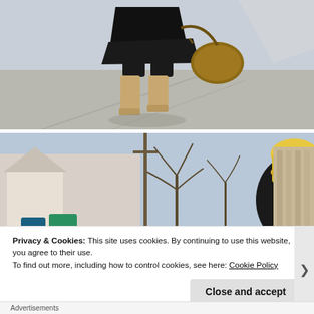[Figure (photo): Close-up photo of a person's lower body walking outdoors on a sunny day, wearing a black outfit with tall tan/beige suede boots and carrying a brown leather handbag. Shot from behind at street level.]
[Figure (photo): Outdoor photo of a smiling blonde woman wearing dark sunglasses and a black turtleneck sweater, standing on a sidewalk or alley between buildings with bare trees and fences visible in background.]
Privacy & Cookies: This site uses cookies. By continuing to use this website, you agree to their use.
To find out more, including how to control cookies, see here: Cookie Policy
Close and accept
Advertisements